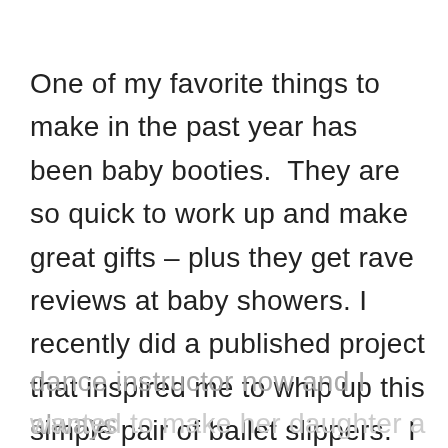One of my favorite things to make in the past year has been baby booties.  They are so quick to work up and make great gifts – plus they get rave reviews at baby showers. I recently did a published project that inspired me to whip up this simple pair of ballet slippers.  I have a good friend from high school who is a dance instructor now and I always wanted to make her daughter a pair of